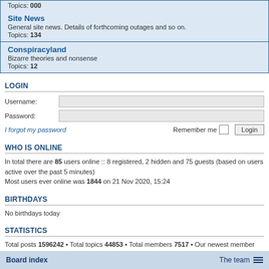Topics: 000
Site News
General site news. Details of forthcoming outages and so on.
Topics: 134
Conspiracyland
Bizarre theories and nonsense
Topics: 12
LOGIN
Username:
Password:
I forgot my password
Remember me
WHO IS ONLINE
In total there are 85 users online :: 8 registered, 2 hidden and 75 guests (based on users active over the past 5 minutes)
Most users ever online was 1844 on 21 Nov 2020, 15:24
BIRTHDAYS
No birthdays today
STATISTICS
Total posts 1596242 • Total topics 44853 • Total members 7517 • Our newest member advemiwom
Board index    The team ≡